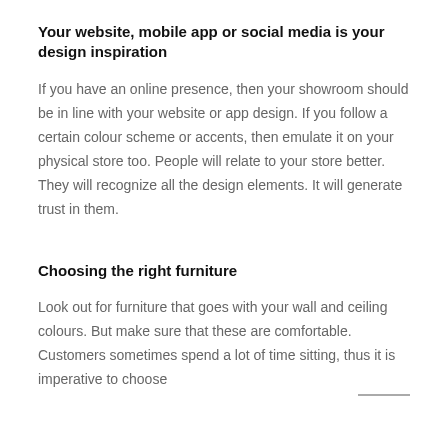Your website, mobile app or social media is your design inspiration
If you have an online presence, then your showroom should be in line with your website or app design. If you follow a certain colour scheme or accents, then emulate it on your physical store too. People will relate to your store better. They will recognize all the design elements. It will generate trust in them.
Choosing the right furniture
Look out for furniture that goes with your wall and ceiling colours. But make sure that these are comfortable. Customers sometimes spend a lot of time sitting, thus it is imperative to choose